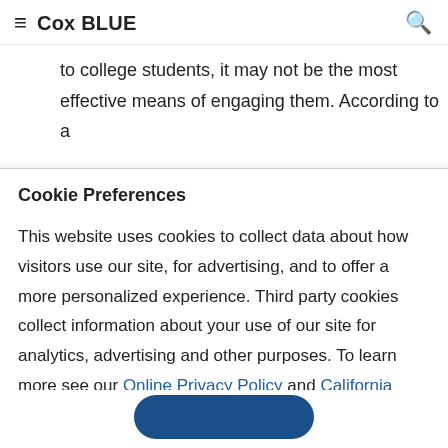≡ Cox BLUE 🔍
to college students, it may not be the most effective means of engaging them. According to a Concentric Marketing report published at Marketing Charts, nearly half of all college
Cookie Preferences
This website uses cookies to collect data about how visitors use our site, for advertising, and to offer a more personalized experience. Third party cookies collect information about your use of our site for analytics, advertising and other purposes. To learn more see our Online Privacy Policy and California Privacy Notice.